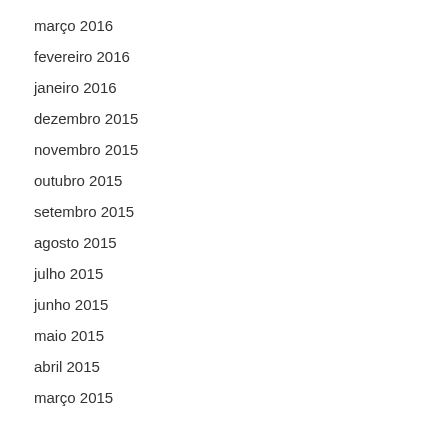março 2016
fevereiro 2016
janeiro 2016
dezembro 2015
novembro 2015
outubro 2015
setembro 2015
agosto 2015
julho 2015
junho 2015
maio 2015
abril 2015
março 2015